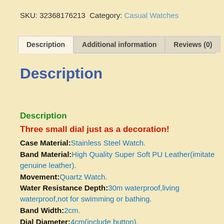SKU: 32368176213 Category: Casual Watches
Description | Additional information | Reviews (0)
Description
Description
Three small dial just as a decoration!
Case Material:Stainless Steel Watch.
Band Material:High Quality Super Soft PU Leather(imitate genuine leather).
Movement:Quartz Watch.
Water Resistance Depth:30m waterproof,living waterproof,not for swimming or bathing.
Band Width:2cm.
Dial Diameter:4cm(include button).
Band Length:23.5cm(include watch dial).
overall:
Three small dial just as a decoration